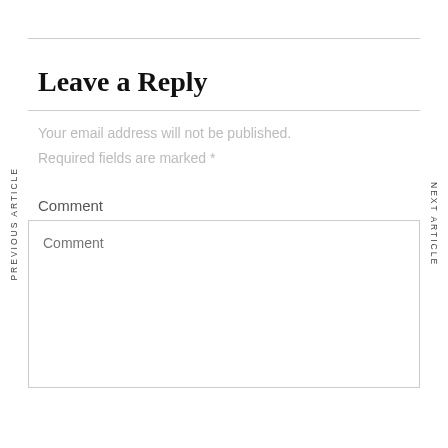PREVIOUS ARTICLE
NEXT ARTICLE
Leave a Reply
Your email address will not be published. Required fields are marked *
Comment
Comment